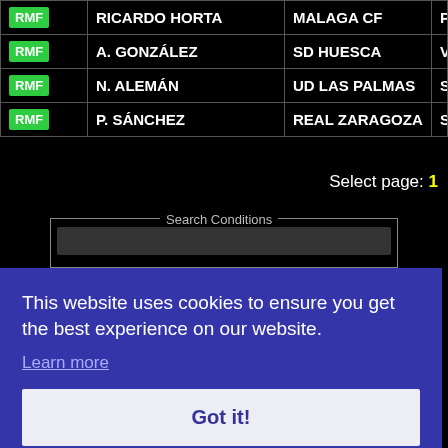| Position | Player | Club | Nation |
| --- | --- | --- | --- |
| RMF | RICARDO HORTA | MALAGA CF | POR |
| RMF | A. GONZÁLEZ | SD HUESCA | VENE |
| RMF | N. ALEMÁN | UD LAS PALMAS | SPAIN |
| RMF | P. SÁNCHEZ | REAL ZARAGOZA | SPAIN |
Select page: 1
Search Conditions
This website uses cookies to ensure you get the best experience on our website.
Learn more
Got it!
League Settings   Get filters